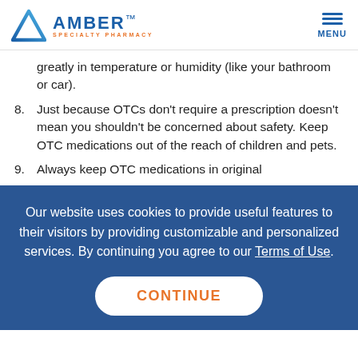AMBER SPECIALTY PHARMACY | MENU
greatly in temperature or humidity (like your bathroom or car).
8. Just because OTCs don't require a prescription doesn't mean you shouldn't be concerned about safety. Keep OTC medications out of the reach of children and pets.
9. Always keep OTC medications in original
Our website uses cookies to provide useful features to their visitors by providing customizable and personalized services. By continuing you agree to our Terms of Use.
CONTINUE